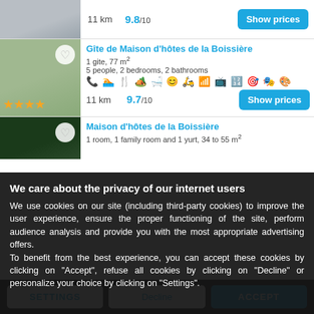[Figure (screenshot): Building photo top row]
11 km   9.8/10
[Figure (photo): Green ivy wall photo with heart icon]
Gîte de Maison d'hôtes de la Boissière
1 gite, 77 m²
5 people, 2 bedrooms, 2 bathrooms
11 km   9.7/10
[Figure (photo): Dark tree/nature photo with heart icon]
Maison d'hôtes de la Boissière
1 room, 1 family room and 1 yurt, 34 to 55 m²
We care about the privacy of our internet users
We use cookies on our site (including third-party cookies) to improve the user experience, ensure the proper functioning of the site, perform audience analysis and provide you with the most appropriate advertising offers.
To benefit from the best experience, you can accept these cookies by clicking on "Accept", refuse all cookies by clicking on "Decline" or personalize your choice by clicking on "Settings".
SETTINGS   Decline   ACCEPT